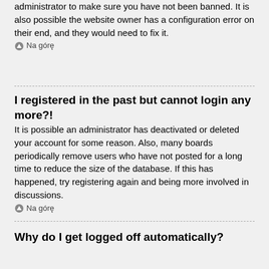administrator to make sure you have not been banned. It is also possible the website owner has a configuration error on their end, and they would need to fix it.
Na górę
I registered in the past but cannot login any more?!
It is possible an administrator has deactivated or deleted your account for some reason. Also, many boards periodically remove users who have not posted for a long time to reduce the size of the database. If this has happened, try registering again and being more involved in discussions.
Na górę
I've lost my password!
Don't panic! While your password cannot be retrieved, it can easily be reset. Visit the login page and click I forgot my password. Follow the instructions and you should be able to log in again shortly.
However, if you are not able to reset your password, contact a board administrator.
Na górę
Why do I get logged off automatically?